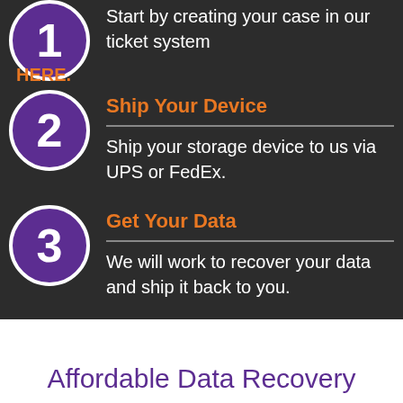Start by creating your case in our ticket system HERE.
Ship Your Device
Ship your storage device to us via UPS or FedEx.
Get Your Data
We will work to recover your data and ship it back to you.
Affordable Data Recovery